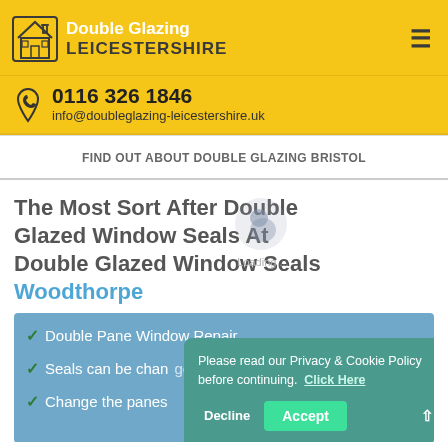Double Glazing Leicestershire
0116 326 1846
info@doubleglazing-leicestershire.uk
FIND OUT ABOUT DOUBLE GLAZING BRISTOL
The Most Sort After Double Glazed Window Seals At Double Glazed Window Seals Woodthorpe
Double Pane Window Repair
Seals can be changed
Change the panes
Please read our Privacy & Cookie Policy before continuing. Click Here
Decline  Accept